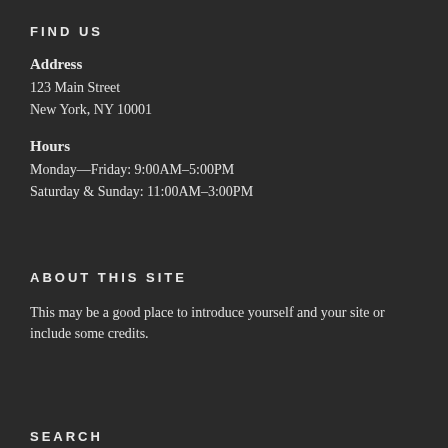FIND US
Address
123 Main Street
New York, NY 10001
Hours
Monday—Friday: 9:00AM–5:00PM
Saturday & Sunday: 11:00AM–3:00PM
ABOUT THIS SITE
This may be a good place to introduce yourself and your site or include some credits.
SEARCH